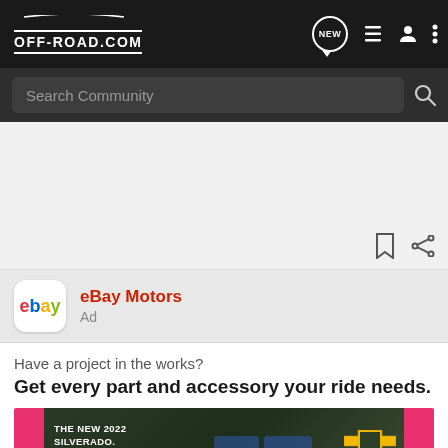OFF-ROAD.COM
Search Community
[Figure (screenshot): White empty content area with bookmark and share icons at bottom right]
[Figure (logo): eBay logo in red, blue, yellow, green lettering]
eBay Motors
Ad
Have a project in the works?
Get every part and accessory your ride needs.
[Figure (photo): Chevrolet Silverado 2022 advertisement showing a blue truck in a forest setting with 'THE NEW 2022 SILVERADO.' text and Explore button and Chevrolet logo]